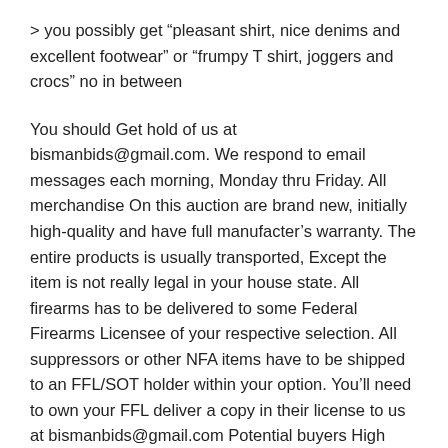> you possibly get “pleasant shirt, nice denims and excellent footwear” or “frumpy T shirt, joggers and crocs” no in between
You should Get hold of us at bismanbids@gmail.com. We respond to email messages each morning, Monday thru Friday. All merchandise On this auction are brand new, initially high-quality and have full manufacter’s warranty. The entire products is usually transported, Except the item is not really legal in your house state. All firearms has to be delivered to some Federal Firearms Licensee of your respective selection. All suppressors or other NFA items have to be shipped to an FFL/SOT holder within your option. You’ll need to own your FFL deliver a copy in their license to us at bismanbids@gmail.com Potential buyers High quality for this auction is 20%. Be sure to will not bid if you do